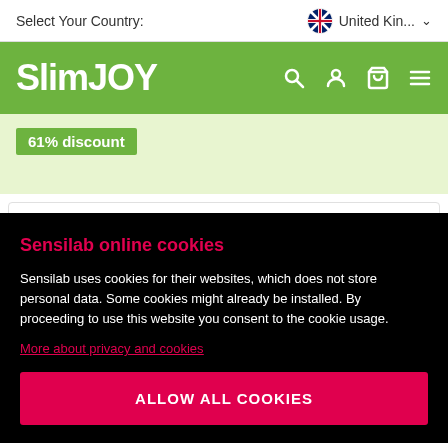Select Your Country: United Kin... ▾
SlimJOY
61% discount
Subscribe & save even more (Receive a 10-day supply every  £68.78 £21.52
Sensilab online cookies
Sensilab uses cookies for their websites, which does not store personal data. Some cookies might already be installed. By proceeding to use this website you consent to the cookie usage.
More about privacy and cookies
ALLOW ALL COOKIES